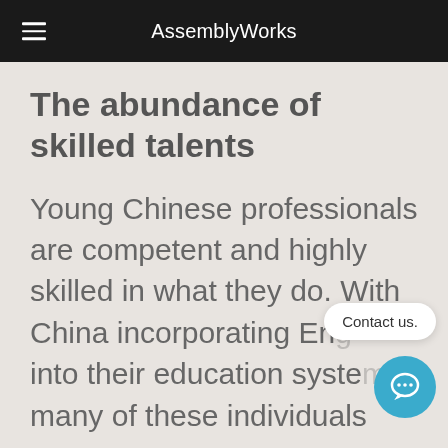AssemblyWorks
The abundance of skilled talents
Young Chinese professionals are competent and highly skilled in what they do. With China incorporating Eng... into their education system... many of these individuals are